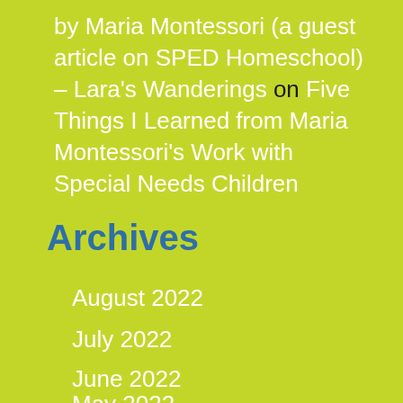by Maria Montessori (a guest article on SPED Homeschool) – Lara's Wanderings on Five Things I Learned from Maria Montessori's Work with Special Needs Children
Archives
August 2022
July 2022
June 2022
May 2022